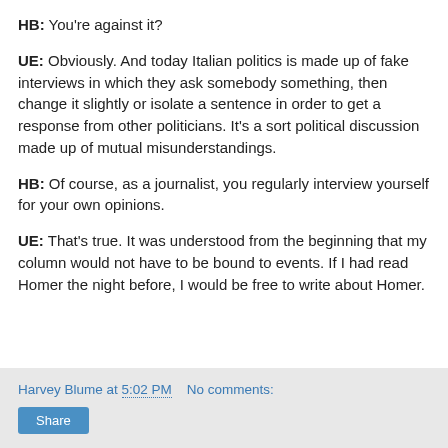HB: You're against it?
UE: Obviously. And today Italian politics is made up of fake interviews in which they ask somebody something, then change it slightly or isolate a sentence in order to get a response from other politicians. It's a sort political discussion made up of mutual misunderstandings.
HB: Of course, as a journalist, you regularly interview yourself for your own opinions.
UE: That's true. It was understood from the beginning that my column would not have to be bound to events. If I had read Homer the night before, I would be free to write about Homer.
Harvey Blume at 5:02 PM   No comments:   Share